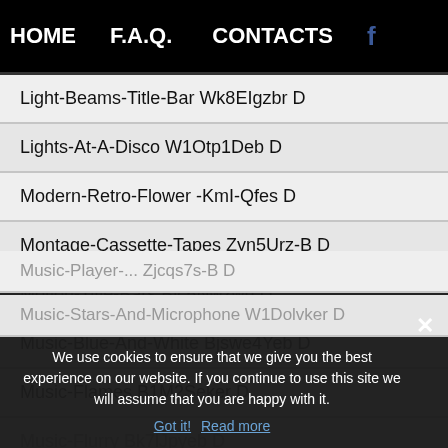HOME   F.A.Q.   CONTACTS   f
Light-Beams-Title-Bar Wk8EIgzbr D
Lights-At-A-Disco W1Otp1Deb D
Modern-Retro-Flower -KmI-Qfes D
Montage-Cassette-Tapes Zyn5Urz-B D
Motion-Title-Bars Bjc5Nwzwh D
Music-Blue-And-White Bjswe4Yeb D
Music-Flames B1M2Seker D
Music-Flurry Bk7lJpyeb D
Music-Player-... Zjcqs7s-B D
Music-Stars-And-Microphone W1Dolvker D
We use cookies to ensure that we give you the best experience on our website. If you continue to use this site we will assume that you are happy with it.
Got it!   Read more